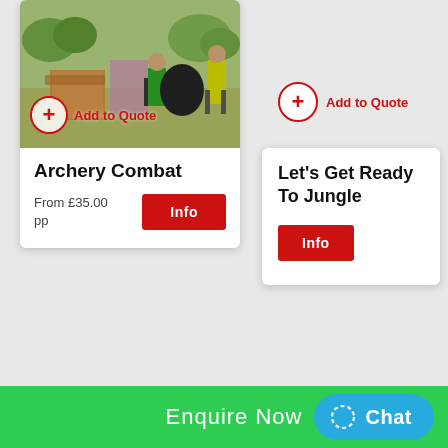[Figure (photo): Outdoor archery combat activity scene with people in a park, green trees, participants in green vests playing archery combat]
Add to Quote
Archery Combat
From £35.00 pp
Info
Add to Quote
Let's Get Ready To Jungle
Info
Enquire Now
Chat